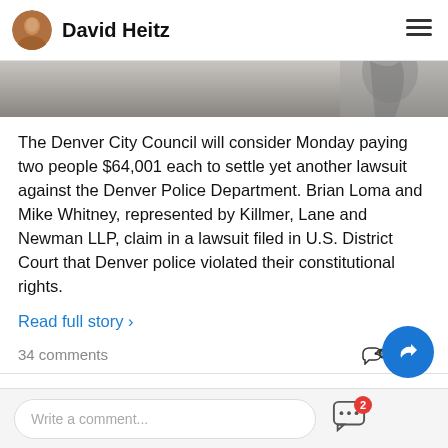David Heitz
[Figure (photo): Hero image showing partial view of a figure, appears to be statue or person, grayscale/muted tones]
The Denver City Council will consider Monday paying two people $64,001 each to settle yet another lawsuit against the Denver Police Department. Brian Loma and Mike Whitney, represented by Killmer, Lane and Newman LLP, claim in a lawsuit filed in U.S. District Court that Denver police violated their constitutional rights.
Read full story ›
34 comments
Share
Write a comment...